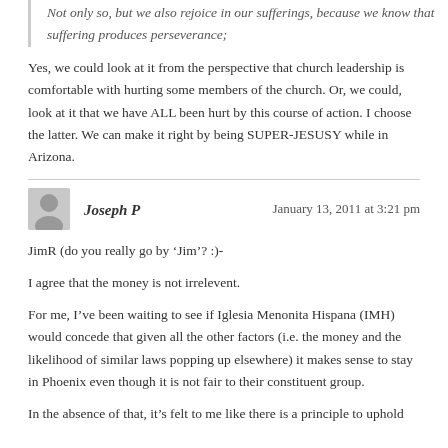Not only so, but we also rejoice in our sufferings, because we know that suffering produces perseverance;
Yes, we could look at it from the perspective that church leadership is comfortable with hurting some members of the church. Or, we could, look at it that we have ALL been hurt by this course of action. I choose the latter. We can make it right by being SUPER-JESUSY while in Arizona.
Joseph P
January 13, 2011 at 3:21 pm
JimR (do you really go by ‘Jim’? :)-
I agree that the money is not irrelevent.
For me, I’ve been waiting to see if Iglesia Menonita Hispana (IMH) would concede that given all the other factors (i.e. the money and the likelihood of similar laws popping up elsewhere) it makes sense to stay in Phoenix even though it is not fair to their constituent group.
In the absence of that, it’s felt to me like there is a principle to uphold